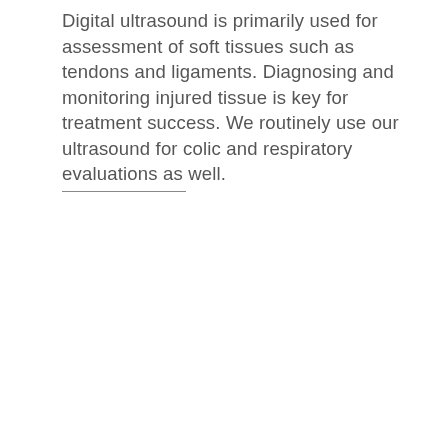Digital ultrasound is primarily used for assessment of soft tissues such as tendons and ligaments. Diagnosing and monitoring injured tissue is key for treatment success. We routinely use our ultrasound for colic and respiratory evaluations as well.
_______________